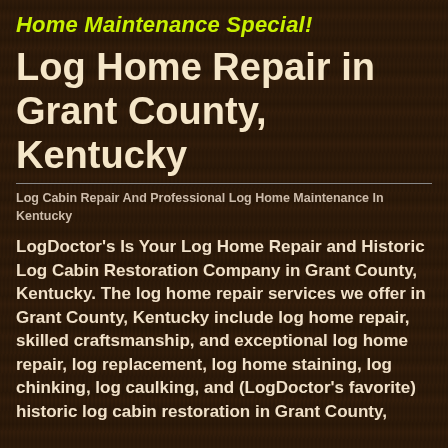Home Maintenance Special!
Log Home Repair in Grant County, Kentucky
Log Cabin Repair And Professional Log Home Maintenance In Kentucky
LogDoctor's Is Your Log Home Repair and Historic Log Cabin Restoration Company in Grant County, Kentucky. The log home repair services we offer in Grant County, Kentucky include log home repair, skilled craftsmanship, and exceptional log home repair, log replacement, log home staining, log chinking, log caulking, and (LogDoctor's favorite) historic log cabin restoration in Grant County,